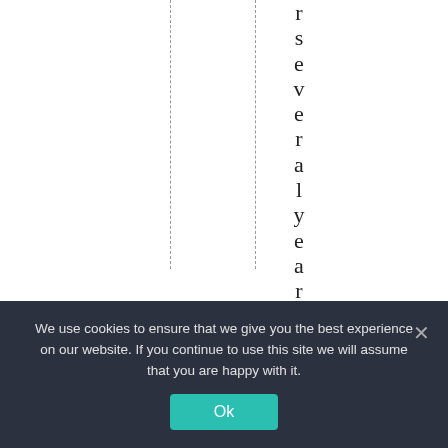r s e v e r a l y e a r s a n d s t .
We use cookies to ensure that we give you the best experience on our website. If you continue to use this site we will assume that you are happy with it.